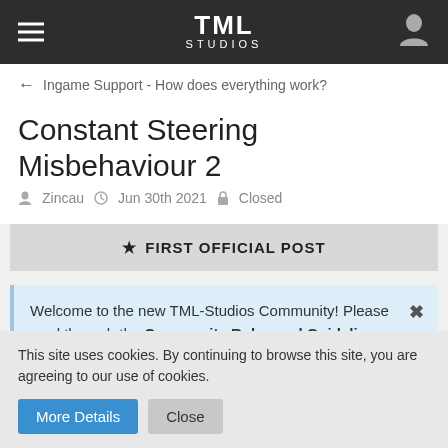TML STUDIOS
← Ingame Support - How does everything work?
Constant Steering Misbehaviour 2
Zincau  Jun 30th 2021  Closed
★ FIRST OFFICIAL POST
Welcome to the new TML-Studios Community! Please read through the Community Rules and Guidelines and Tips & Tricks. Have fun!
This site uses cookies. By continuing to browse this site, you are agreeing to our use of cookies.
More Details  Close